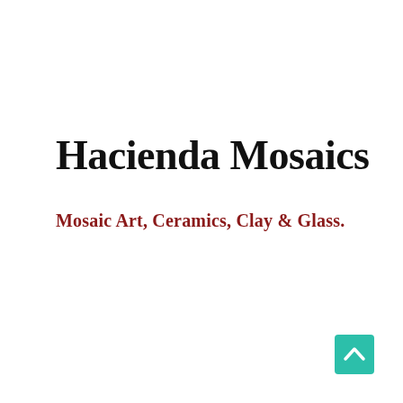Hacienda Mosaics
Mosaic Art, Ceramics, Clay & Glass.
[Figure (other): Teal/green rounded square button with white upward-pointing chevron arrow, positioned in bottom-right corner]